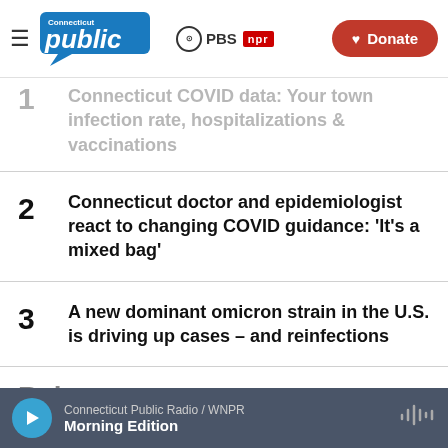Connecticut Public | PBS | NPR | Donate
1 Connecticut COVID data: Your town infection rate, hospitalizations & vaccinations
2 Connecticut doctor and epidemiologist react to changing COVID guidance: 'It's a mixed bag'
3 A new dominant omicron strain in the U.S. is driving up cases – and reinfections
Connecticut Public Radio / WNPR | Morning Edition